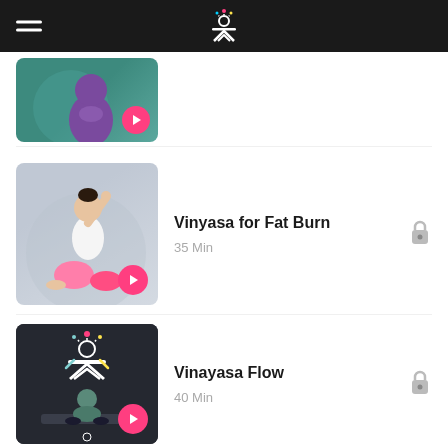App navigation header with hamburger menu and logo
[Figure (screenshot): Yoga thumbnail - first item partially visible, person in purple top with hands in prayer position, teal background, pink play button]
[Figure (screenshot): Yoga thumbnail - woman in white sports bra and pink leggings in seated side stretch pose, light grey background, pink play button]
Vinyasa for Fat Burn
35 Min
[Figure (screenshot): Yoga thumbnail - dark background with yoga app logo/icon design, man seated in meditation, pink play button]
Vinayasa Flow
40 Min